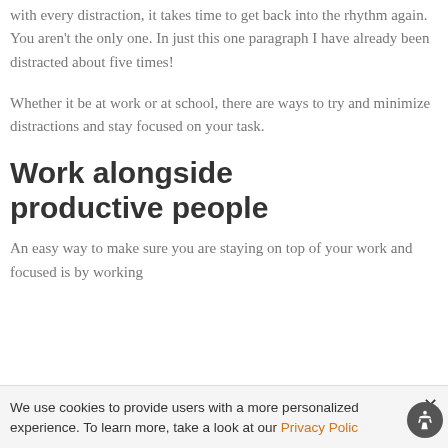with every distraction, it takes time to get back into the rhythm again. You aren't the only one. In just this one paragraph I have already been distracted about five times!
Whether it be at work or at school, there are ways to try and minimize distractions and stay focused on your task.
Work alongside productive people
An easy way to make sure you are staying on top of your work and focused is by working
We use cookies to provide users with a more personalized experience. To learn more, take a look at our Privacy Polic…